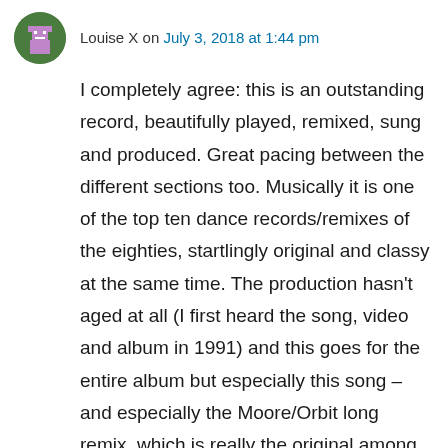Louise X on July 3, 2018 at 1:44 pm
I completely agree: this is an outstanding record, beautifully played, remixed, sung and produced. Great pacing between the different sections too. Musically it is one of the top ten dance records/remixes of the eighties, startlingly original and classy at the same time. The production hasn't aged at all (I first heard the song, video and album in 1991) and this goes for the entire album but especially this song – and especially the Moore/Orbit long remix, which is really the original among those released. Madonna's subsequent single is pretty much a rip-off, it's nowhere near the class of Deep in Vogue I think – and one of the reasons is that Lourdes is a much better vocalist.